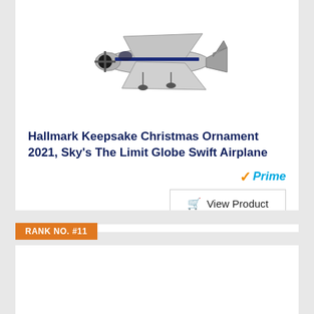[Figure (photo): Photo of a model airplane ornament – a silver/chrome Globe Swift airplane model viewed from front-left angle]
Hallmark Keepsake Christmas Ornament 2021, Sky's The Limit Globe Swift Airplane
Prime
View Product
RANK NO. #11
[Figure (photo): Product image area for rank #11 item (blank/loading)]